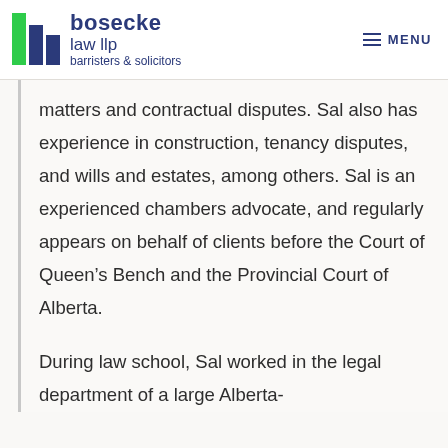bosecke law llp barristers & solicitors | MENU
matters and contractual disputes. Sal also has experience in construction, tenancy disputes, and wills and estates, among others. Sal is an experienced chambers advocate, and regularly appears on behalf of clients before the Court of Queen's Bench and the Provincial Court of Alberta.
During law school, Sal worked in the legal department of a large Alberta-